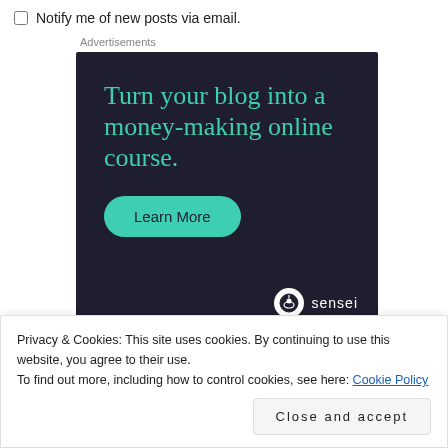Notify me of new posts via email.
Advertisements
[Figure (illustration): Advertisement banner for Sensei with dark background, teal headline text 'Turn your blog into a money-making online course.', a teal 'Learn More' button, and the Sensei logo in the bottom right.]
Privacy & Cookies: This site uses cookies. By continuing to use this website, you agree to their use.
To find out more, including how to control cookies, see here: Cookie Policy
Close and accept